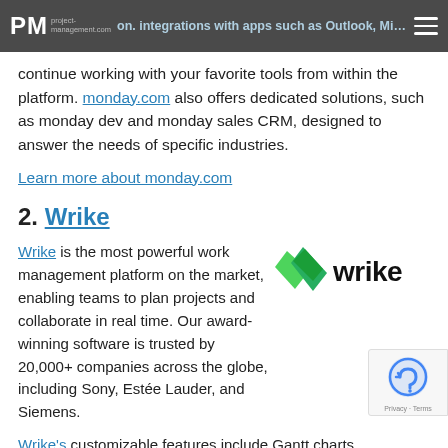PM project-management.com | ...on. integrations with apps such as Outlook, Microsoft Teams, Gmail, and Excel, allow you to easily
continue working with your favorite tools from within the platform. monday.com also offers dedicated solutions, such as monday dev and monday sales CRM, designed to answer the needs of specific industries.
Learn more about monday.com
2. Wrike
Wrike is the most powerful work management platform on the market, enabling teams to plan projects and collaborate in real time. Our award-winning software is trusted by 20,000+ companies across the globe, including Sony, Estée Lauder, and Siemens.
[Figure (logo): Wrike logo: green checkmark with leaf shapes and the word 'wrike' in bold black text]
Wrike's customizable features include Gantt charts,